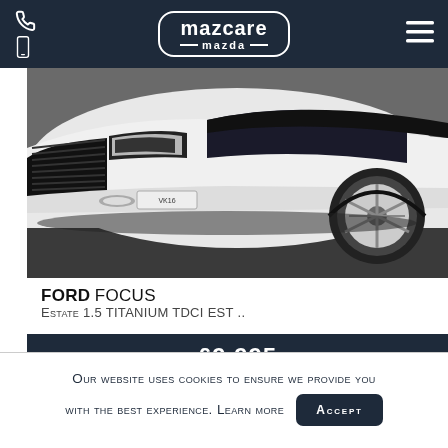mazcare mazda
[Figure (photo): Front view of a white Ford Focus estate car parked on a grey surface, showing the front grille, headlights, and alloy wheel]
FORD FOCUS
Estate 1.5 TITANIUM TDCI EST ..
£9,995
MANUAL   59,566
Our website uses cookies to ensure we provide you with the best experience. Learn more
ACCEPT